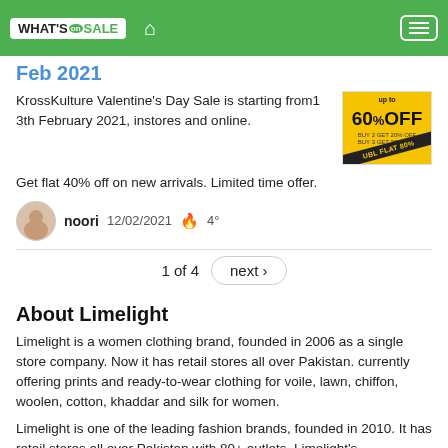What's on Sale
Feb 2021
KrossKulture Valentine's Day Sale is starting from1 3th February 2021, instores and online.
[Figure (other): Yellow promotional banner showing 'up to 60% OFF' with diagonal stripe]
Get flat 40% off on new arrivals. Limited time offer.
noori  12/02/2021  🔥  4°
1 of 4  next ›
About Limelight
Limelight is a women clothing brand, founded in 2006 as a single store company. Now it has retail stores all over Pakistan. currently offering prints and ready-to-wear clothing for voile, lawn, chiffon, woolen, cotton, khaddar and silk for women.
Limelight is one of the leading fashion brands, founded in 2010. It has retail stores all over Pakistan with 80+ outlets. Limelight's